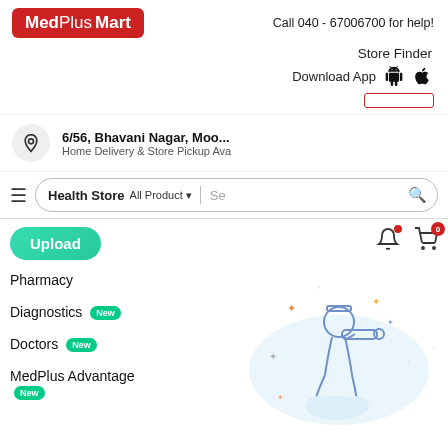[Figure (logo): MedPlus Mart logo — red rounded rectangle with white text]
Call 040 - 67006700 for help!
Store Finder
Download App
[Figure (other): Red horizontal input/search bar outline]
6/56, Bhavani Nagar, Moo...
Home Delivery & Store Pickup Ava
Health Store
All Product ▼
Se 🔍
Upload
Pharmacy
Diagnostics
Doctors
MedPlus Advantage
[Figure (illustration): Cartoon illustration of a person looking through a telescope, surrounded by decorative stars and circles in a light blue cloud]